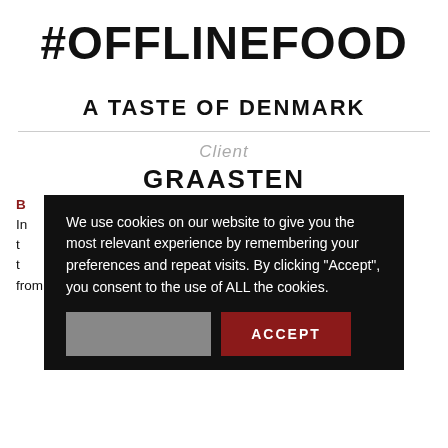#OFFLINEFOOD
A TASTE OF DENMARK
Client
GRAASTEN
[Figure (screenshot): Cookie consent popup overlay with dark background, text reading 'We use cookies on our website to give you the most relevant experience by remembering your preferences and repeat visits. By clicking "Accept", you consent to the use of ALL the cookies.' with a grey button and a dark red ACCEPT button.]
In ... rmed up with Anew t... that our time t... hout interference from social media, TV, radio, etc.